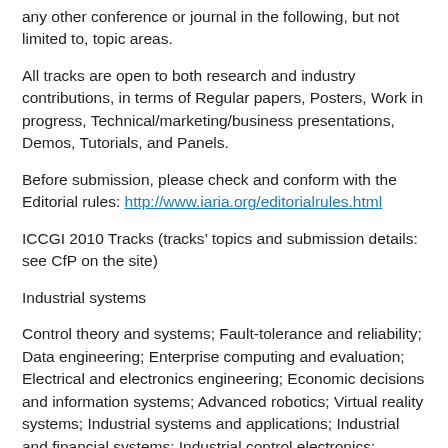any other conference or journal in the following, but not limited to, topic areas.
All tracks are open to both research and industry contributions, in terms of Regular papers, Posters, Work in progress, Technical/marketing/business presentations, Demos, Tutorials, and Panels.
Before submission, please check and conform with the Editorial rules: http://www.iaria.org/editorialrules.html
ICCGI 2010 Tracks (tracks’ topics and submission details: see CfP on the site)
Industrial systems
Control theory and systems; Fault-tolerance and reliability; Data engineering; Enterprise computing and evaluation; Electrical and electronics engineering; Economic decisions and information systems; Advanced robotics; Virtual reality systems; Industrial systems and applications; Industrial and financial systems; Industrial control electronics; Industrial IT solutions